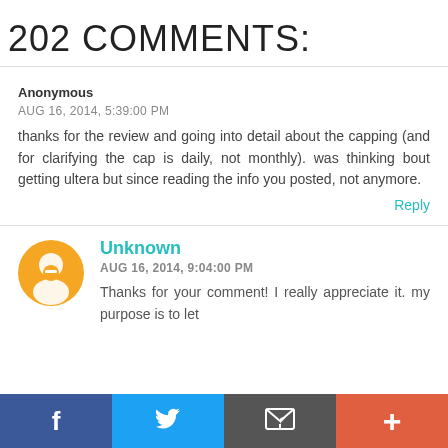202 COMMENTS:
Anonymous
AUG 16, 2014, 5:39:00 PM
thanks for the review and going into detail about the capping (and for clarifying the cap is daily, not monthly). was thinking bout getting ultera but since reading the info you posted, not anymore.
Reply
Unknown
AUG 16, 2014, 9:04:00 PM
Thanks for your comment! I really appreciate it. my purpose is to let